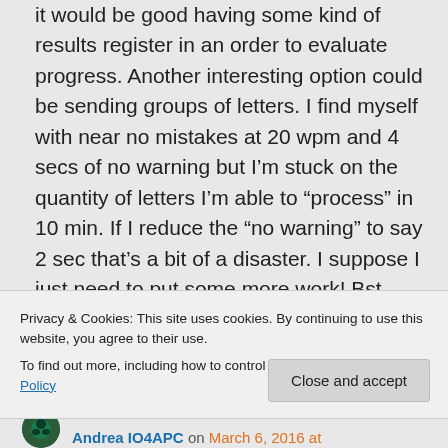it would be good having some kind of results register in an order to evaluate progress. Another interesting option could be sending groups of letters. I find myself with near no mistakes at 20 wpm and 4 secs of no warning but I'm stuck on the quantity of letters I'm able to “process” in 10 min. If I reduce the “no warning” to say 2 sec that’s a bit of a disaster. I suppose I just need to put some more work! Bst rgds & 73.
Privacy & Cookies: This site uses cookies. By continuing to use this website, you agree to their use.
To find out more, including how to control cookies, see here: Cookie Policy
Close and accept
Andrea IO4APC on March 6, 2016 at